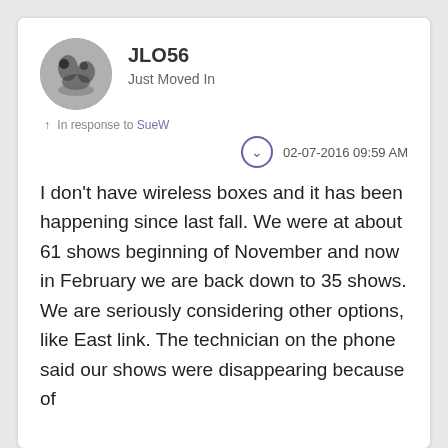[Figure (photo): Round avatar photo of user JLO56, showing a close-up grayscale image]
JLO56
Just Moved In
In response to SueW
02-07-2016 09:59 AM
I don't have wireless boxes and it has been happening since last fall.  We were at about 61 shows beginning of November and now in February we are back down to 35 shows.  We are seriously considering other options, like East link. The technician on the phone said our shows were disappearing because of